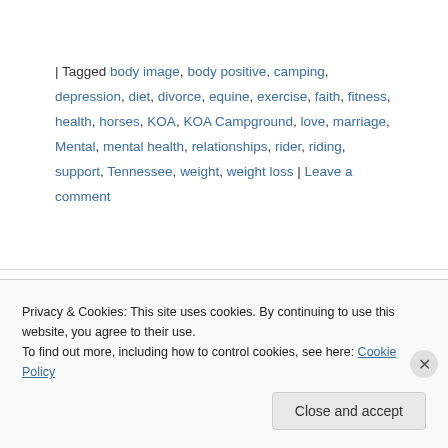| Tagged body image, body positive, camping, depression, diet, divorce, equine, exercise, faith, fitness, health, horses, KOA, KOA Campground, love, marriage, Mental, mental health, relationships, rider, riding, support, Tennessee, weight, weight loss | Leave a comment
Making Changes
Privacy & Cookies: This site uses cookies. By continuing to use this website, you agree to their use.
To find out more, including how to control cookies, see here: Cookie Policy